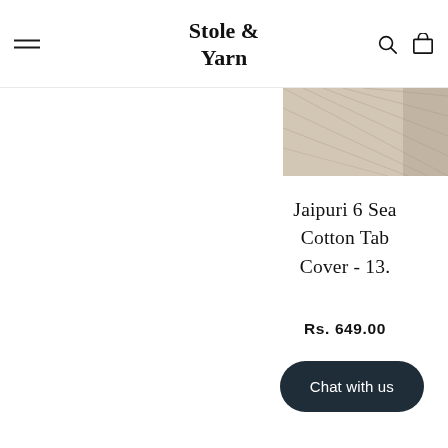Stole & Yarn
[Figure (photo): Partial product image of Jaipuri table cover with textile patterns, shown in top-right corner]
Jaipuri 6 Seater Cotton Table Cover - 13...
Rs. 649.00
Chat with us